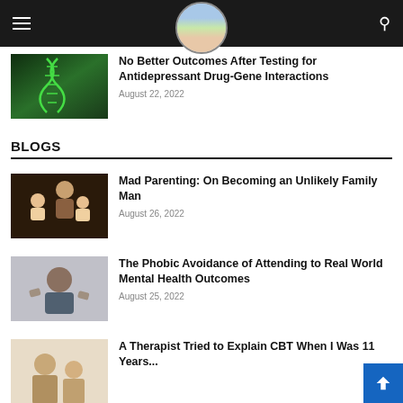Site header with hamburger menu, brain logo, and search icon
No Better Outcomes After Testing for Antidepressant Drug-Gene Interactions
August 22, 2022
BLOGS
Mad Parenting: On Becoming an Unlikely Family Man
August 26, 2022
The Phobic Avoidance of Attending to Real World Mental Health Outcomes
August 25, 2022
A Therapist Tried to Explain CBT When I Was 11 Years...